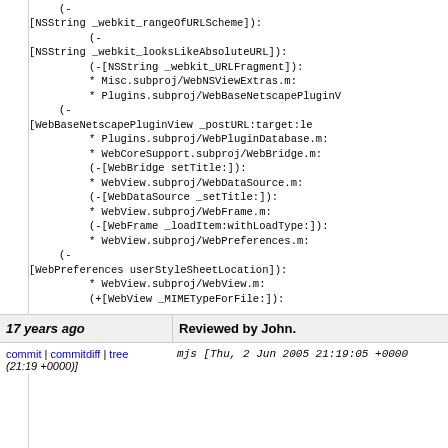(-[NSString _webkit_rangeOfURLScheme]):
(-[NSString _webkit_looksLikeAbsoluteURL]):
(-[NSString _webkit_URLFragment]):
* Misc.subproj/WebNSViewExtras.m:
* Plugins.subproj/WebBaseNetscapePluginV...
(-[WebBaseNetscapePluginView _postURL:target:le...
* Plugins.subproj/WebPluginDatabase.m:
* WebCoreSupport.subproj/WebBridge.m:
(-[WebBridge setTitle:]):
* WebView.subproj/WebDataSource.m:
(-[WebDataSource _setTitle:]):
* WebView.subproj/WebFrame.m:
(-[WebFrame _loadItem:withLoadType:]):
* WebView.subproj/WebPreferences.m:
(-[WebPreferences userStyleSheetLocation]):
* WebView.subproj/WebView.m:
(+[WebView _MIMETypeForFile:]):
git-svn-id: https://svn.webkit.org/repository/webkit/trunk@cd09-0410-ab3c-d52691b4dbfc
17 years ago
Reviewed by John.
commit | commitdiff | tree
(21:19 +0000)]
mjs [Thu, 2 Jun 2005 21:19:05 +0000